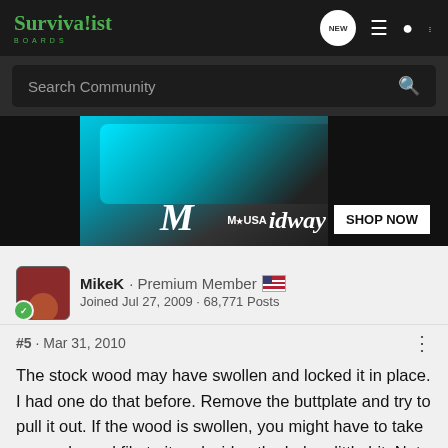Survivalist Boards
Search Community
[Figure (photo): MidwayUSA advertisement banner with blue device and 'SHOP NOW' button]
MikeK · Premium Member  Joined Jul 27, 2009 · 68,771 Posts
#5 · Mar 31, 2010
The stock wood may have swollen and locked it in place. I had one do that before. Remove the buttplate and try to pull it out. If the wood is swollen, you might have to take a round wood file to it and widen the hole a little bit. Not too much, just enough that it can move freely.